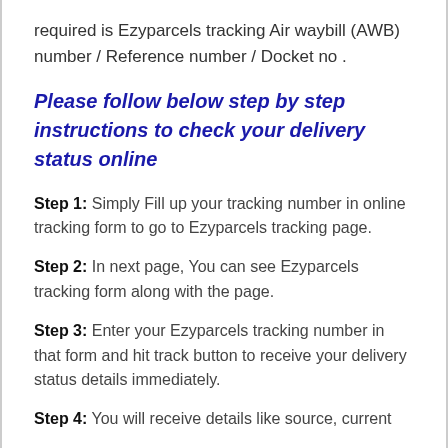required is Ezyparcels tracking Air waybill (AWB) number / Reference number / Docket no .
Please follow below step by step instructions to check your delivery status online
Step 1: Simply Fill up your tracking number in online tracking form to go to Ezyparcels tracking page.
Step 2: In next page, You can see Ezyparcels tracking form along with the page.
Step 3: Enter your Ezyparcels tracking number in that form and hit track button to receive your delivery status details immediately.
Step 4: You will receive details like source, current